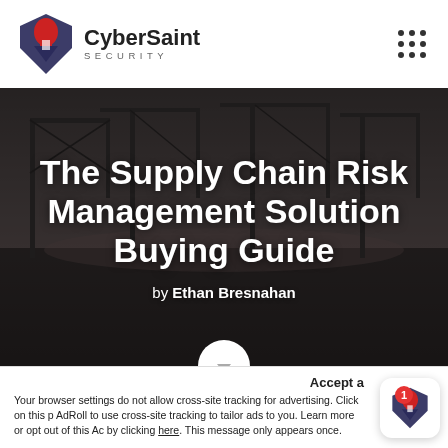[Figure (logo): CyberSaint Security logo with stylized shield/knight head icon in red and dark blue, company name CyberSaint in bold with SECURITY in spaced letters below]
The Supply Chain Risk Management Solution Buying Guide
by Ethan Bresnahan
[Figure (photo): Dark grayscale photo of a shipping port with large industrial cranes over water, forming the hero banner background]
Accept a
Your browser settings do not allow cross-site tracking for advertising. Click on this p AdRoll to use cross-site tracking to tailor ads to you. Learn more or opt out of this Ac by clicking here. This message only appears once.